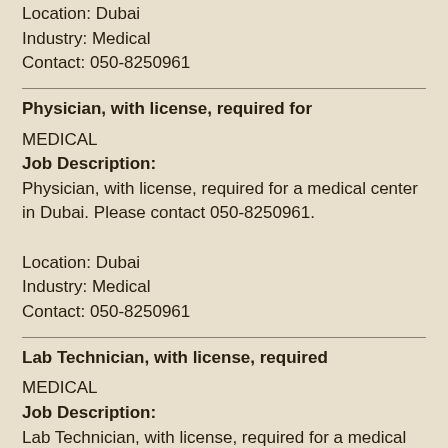Location: Dubai
Industry: Medical
Contact: 050-8250961
Physician, with license, required for
MEDICAL
Job Description:
Physician, with license, required for a medical center in Dubai. Please contact 050-8250961.

Location: Dubai
Industry: Medical
Contact: 050-8250961
Lab Technician, with license, required
MEDICAL
Job Description:
Lab Technician, with license, required for a medical center in Dubai. Please contact 050-8250961.

Location: Dubai
Industry: Medical
Contact: 050-8250961